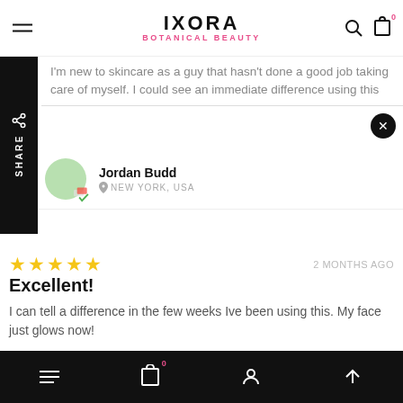IXORA BOTANICAL BEAUTY
I'm new to skincare as a guy that hasn't done a good job taking care of myself. I could see an immediate difference using this
Jordan Budd
NEW YORK, USA
★★★★★  2 MONTHS AGO
Excellent!
I can tell a difference in the few weeks Ive been using this. My face just glows now!
Ashley White
LIMA, OHIO, USA
navigation bar